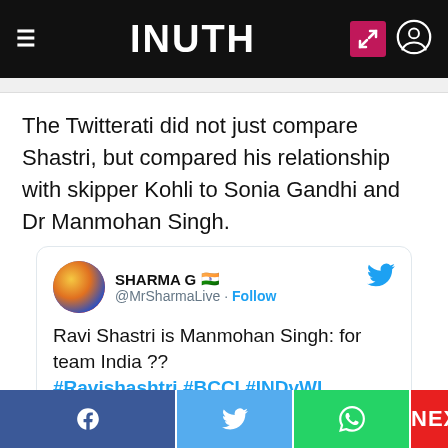INUTH
The Twitterati did not just compare Shastri, but compared his relationship with skipper Kohli to Sonia Gandhi and Dr Manmohan Singh.
[Figure (screenshot): Embedded tweet from @MrSharmaLive (SHARMA G) reading: 'Ravi Shastri is Manmohan Singh: for team India ?? #Ravishashtri #BCCI #INDvWI' posted at 3:10 PM · Jun 27, 2017]